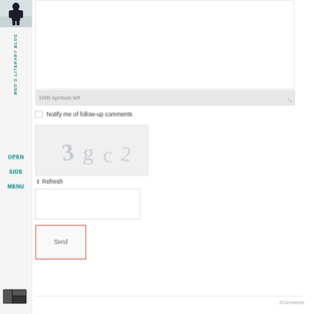[Figure (photo): Person silhouette in snow, top of left sidebar]
MEO'S LITERARY BLOG
OPEN SIDE MENU
1000 symbols left
Notify me of follow-up comments
[Figure (other): CAPTCHA image showing distorted text '3gc2']
⇕ Refresh
Send
JComments